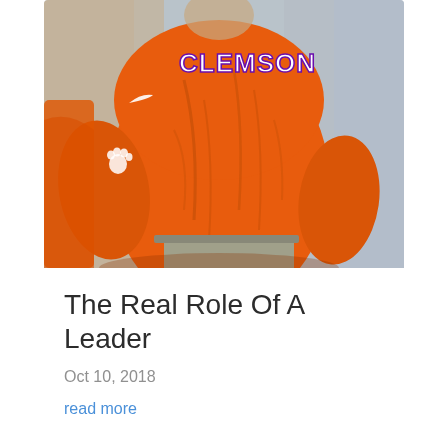[Figure (photo): Person wearing an orange Clemson long-sleeve athletic shirt with Nike logo and Clemson tiger paw logo visible, seen from behind/side angle]
The Real Role Of A Leader
Oct 10, 2018
read more